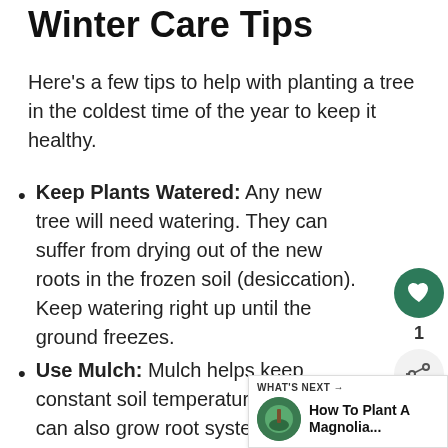Winter Care Tips
Here's a few tips to help with planting a tree in the coldest time of the year to keep it healthy.
Keep Plants Watered: Any new tree will need watering. They can suffer from drying out of the new roots in the frozen soil (desiccation). Keep watering right up until the ground freezes.
Use Mulch: Mulch helps keep constant soil temperatures. Plants can also grow root systems if soil temperature is over 45 degrees.
Don't Fertilize: You can add small amounts of bone meal or compost, yet don't try to get